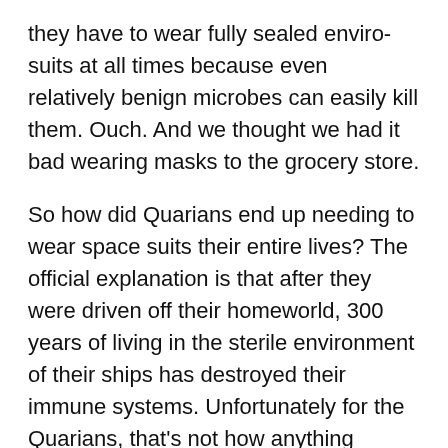they have to wear fully sealed enviro-suits at all times because even relatively benign microbes can easily kill them. Ouch. And we thought we had it bad wearing masks to the grocery store.
So how did Quarians end up needing to wear space suits their entire lives? The official explanation is that after they were driven off their homeworld, 300 years of living in the sterile environment of their ships has destroyed their immune systems. Unfortunately for the Quarians, that's not how anything works, least of all evolution.
First, I'm highly skeptical that 300 years in a sterile environment would be enough for all Quarians to lose their immune systems. There would have to be